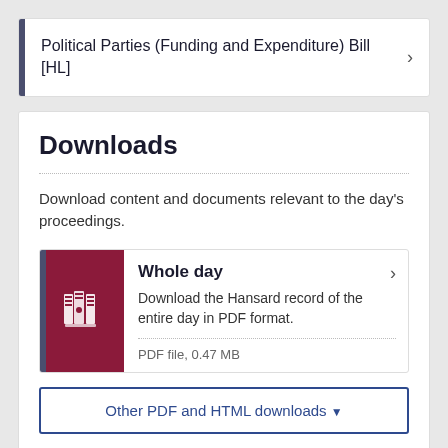Political Parties (Funding and Expenditure) Bill [HL]
Downloads
Download content and documents relevant to the day's proceedings.
Whole day
Download the Hansard record of the entire day in PDF format.
PDF file, 0.47 MB
Other PDF and HTML downloads